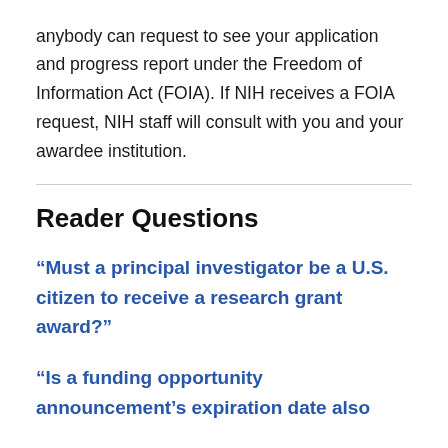anybody can request to see your application and progress report under the Freedom of Information Act (FOIA). If NIH receives a FOIA request, NIH staff will consult with you and your awardee institution.
Reader Questions
“Must a principal investigator be a U.S. citizen to receive a research grant award?”
“Is a funding opportunity announcement’s expiration date also